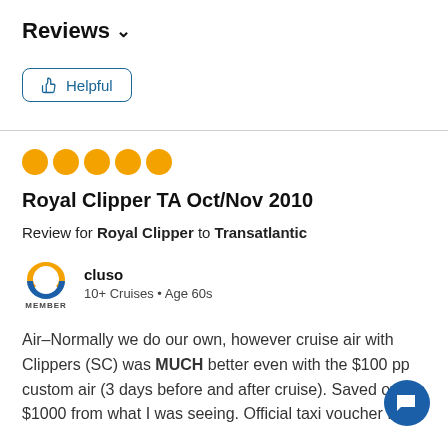Reviews ∨
[Figure (other): Helpful button with thumbs up icon, blue outlined rounded rectangle]
[Figure (other): Five orange filled circles representing a 5-star rating]
Royal Clipper TA Oct/Nov 2010
Review for Royal Clipper to Transatlantic
[Figure (logo): Cruise Critic member avatar logo with orange and blue C shape, labeled MEMBER]
cluso
10+ Cruises • Age 60s
Air–Normally we do our own, however cruise air with Clippers (SC) was MUCH better even with the $100 pp custom air (3 days before and after cruise). Saved over a $1000 from what I was seeing. Official taxi voucher from